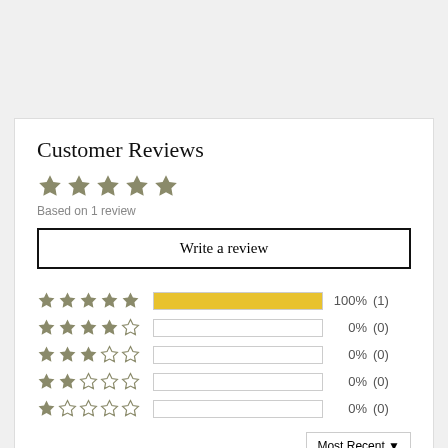Customer Reviews
[Figure (other): 5 filled stars (large, olive/grey color) representing average rating]
Based on 1 review
Write a review
[Figure (bar-chart): Rating distribution]
Most Recent ▼